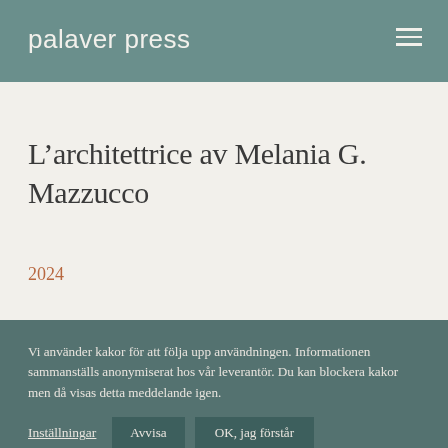palaver press
L’architettrice av Melania G. Mazzucco
2024
Vi använder kakor för att följa upp användningen. Informationen sammanställs anonymiserat hos vår leverantör. Du kan blockera kakor men då visas detta meddelande igen.
Inställningar  Avvisa  OK, jag förstår